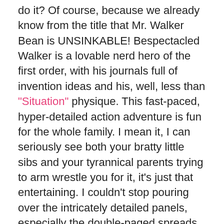do it? Of course, because we already know from the title that Mr. Walker Bean is UNSINKABLE! Bespectacled Walker is a lovable nerd hero of the first order, with his journals full of invention ideas and his, well, less than "Situation" physique. This fast-paced, hyper-detailed action adventure is fun for the whole family. I mean it, I can seriously see both your bratty little sibs and your tyrannical parents trying to arm wrestle you for it, it's just that entertaining. I couldn't stop pouring over the intricately detailed panels, especially the double-paged spreads, which are eye-popping in color and scope and reminded me in the best possible way of one my most favorite childhood reads.Â Soon to be sailing into a library or bookstore near you!